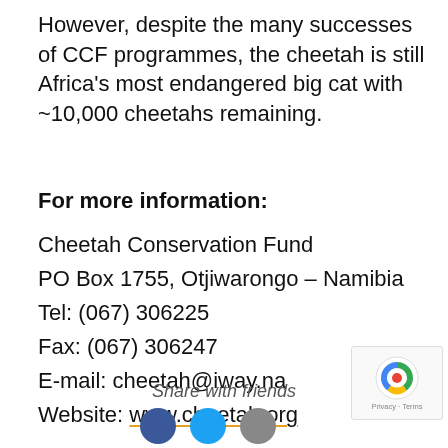However, despite the many successes of CCF programmes, the cheetah is still Africa's most endangered big cat with ~10,000 cheetahs remaining.
For more information:
Cheetah Conservation Fund
PO Box 1755, Otjiwarongo – Namibia
Tel: (067) 306225
Fax: (067) 306247
E-mail: cheetah@iway.na
Website: www.cheetah.org
Share with friends